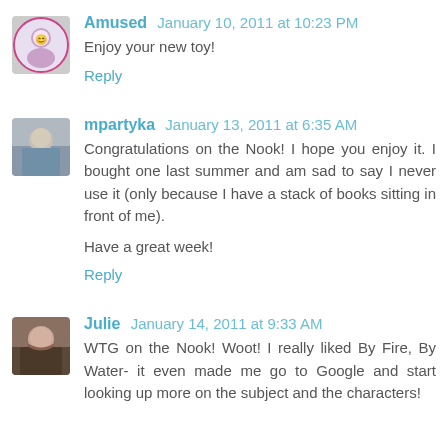Amused  January 10, 2011 at 10:23 PM
Enjoy your new toy!
Reply
mpartyka  January 13, 2011 at 6:35 AM
Congratulations on the Nook! I hope you enjoy it. I bought one last summer and am sad to say I never use it (only because I have a stack of books sitting in front of me).

Have a great week!
Reply
Julie  January 14, 2011 at 9:33 AM
WTG on the Nook! Woot! I really liked By Fire, By Water- it even made me go to Google and start looking up more on the subject and the characters!